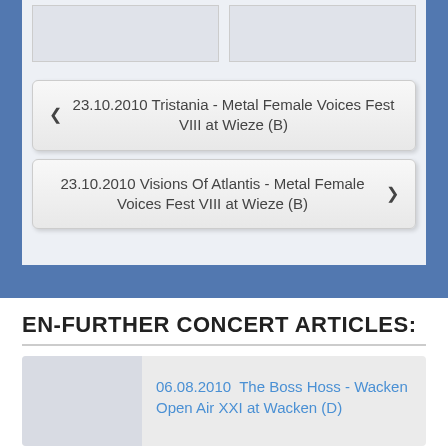[Figure (photo): Two image placeholders side by side at top]
◄ 23.10.2010 Tristania - Metal Female Voices Fest VIII at Wieze (B)
23.10.2010 Visions Of Atlantis - Metal Female Voices Fest VIII at Wieze (B) ►
EN-FURTHER CONCERT ARTICLES:
[Figure (photo): Thumbnail image placeholder for article]
06.08.2010 The Boss Hoss - Wacken Open Air XXI at Wacken (D)